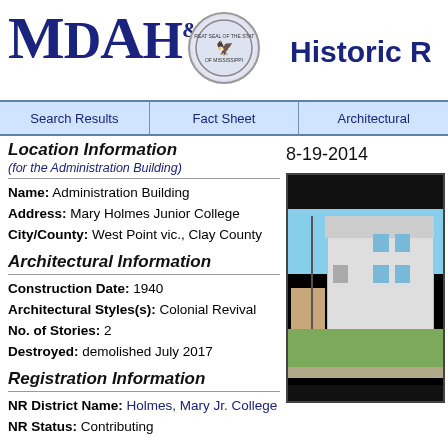MDAH Historic R[esource Register]
Location Information (for the Administration Building)
Name: Administration Building
Address: Mary Holmes Junior College
City/County: West Point vic., Clay County
Architectural Information
Construction Date: 1940
Architectural Styles(s): Colonial Revival
No. of Stories: 2
Destroyed: demolished July 2017
Registration Information
NR District Name: Holmes, Mary Jr. College
NR Status: Contributing
8-19-2014
[Figure (photo): Photograph of the Administration Building at Mary Holmes Junior College, a two-story white building with green lawn, taken 8-19-2014]